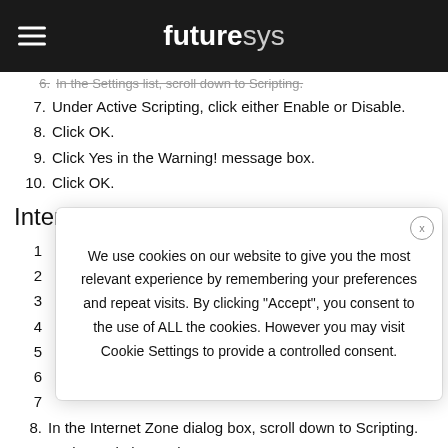futuresys
6. In the Settings list, scroll down to Scripting.
7. Under Active Scripting, click either Enable or Disable.
8. Click OK.
9. Click Yes in the Warning! message box.
10. Click OK.
Internet Explorer 4.x or 5.x (Mac):
1.
2.
3.
4.
5.
6.
7.
8. In the Internet Zone dialog box, scroll down to Scripting.
9. Under Scripting and Execute scripts, click either Enable or...
[Figure (screenshot): Cookie consent modal overlay with text: We use cookies on our website to give you the most relevant experience by remembering your preferences and repeat visits. By clicking "Accept", you consent to the use of ALL the cookies. However you may visit Cookie Settings to provide a controlled consent.]